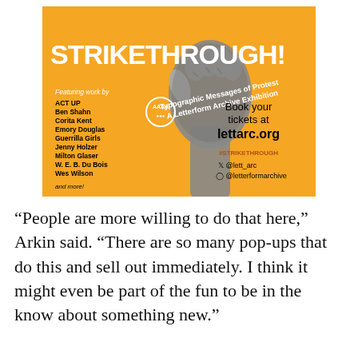[Figure (illustration): An orange square advertisement for 'STRIKETHROUGH! Typographic Messages of Protest – A Letterform Archive Exhibition'. Features a raised fist in black and white. Lists featured artists: ACT UP, Ben Shahn, Corita Kent, Emory Douglas, Guerrilla Girls, Jenny Holzer, Milton Glaser, W. E. B. Du Bois, Wes Wilson, and more. Includes booking info: lettarc.org, #STRIKETHROUGH, @lett_arc (Twitter), @letterformarchive (Instagram).]
“People are more willing to do that here,” Arkin said. “There are so many pop-ups that do this and sell out immediately. I think it might even be part of the fun to be in the know about something new.”